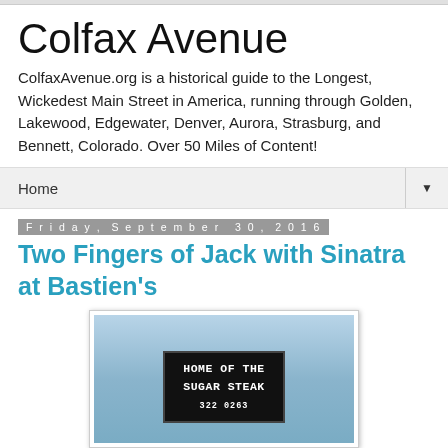Colfax Avenue
ColfaxAvenue.org is a historical guide to the Longest, Wickedest Main Street in America, running through Golden, Lakewood, Edgewater, Denver, Aurora, Strasburg, and Bennett, Colorado. Over 50 Miles of Content!
Home
Friday, September 30, 2016
Two Fingers of Jack with Sinatra at Bastien's
[Figure (photo): Sign reading HOME OF THE SUGAR STEAK with phone number 322 0263, against a blue sky background]